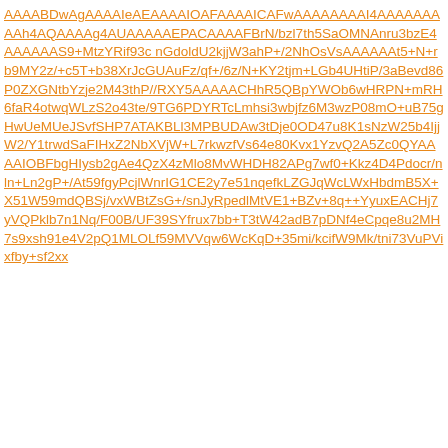AAAABDwAgAAAAIeAEAAAAIOAFAAAAICAFwAAAAAAAAI4AAAAAAAAAh4AQAAAAg4AUAAAAAEPACAAAAFBrN/bzl7th5SaOMNAnru3bzE4AAAAAAS9+MtzYRif93cnGdoldU2kjjW3ahP+/2NhOsVsAAAAAAt5+N+rb9MY2z/+c5T+b38XrJcGUAuFz/qf+/6z/N+KY2tjm+LGb4UHtiP/3aBevd86P0ZXGNtbYzje2M43thP//RXY5AAAAACHhR5QBpYWOb6wHRPN+mRH6faR4otwqWLzS2o43te/9TG6PDYRTcLmhsi3wbjfz6M3wzP08mO+uB75gHwUeMUeJSvfSHP7ATAKBLl3MPBUDAw3tDje0OD47u8K1sNzW25b4IjjW2/Y1trwdSaFIHxZ2NbXVjW+L7rkwzfVs64e80Kvx1YzvQ2A5Zc0QYAAAAIOBFbgHIysb2gAe4QzX4zMlo8MvWHDH82APg7wf0+Kkz4D4Pdocr/nln+Ln2gP+/At59fgyPcjlWnrIG1CE2y7e51nqefkLZGJqWcLWxHbdmB5X+X51W59mdQBSj/vxWBtZsG+/snJyRpedlMtVE1+BZv+8q++YyuxEACHj7yVQPklb7n1Nq/F00B/UF39SYfrux7bb+T3tW42adB7pDNf4eCpqe8u2MH7s9xsh91e4V2pQ1MLOLf59MVVqw6WcKqD+35mi/kcifW9Mk/tni73VuPVixfby+sf2xx